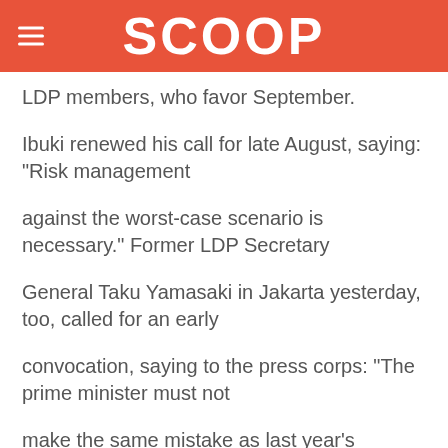SCOOP
LDP members, who favor September.
Ibuki renewed his call for late August, saying: "Risk management
against the worst-case scenario is necessary." Former LDP Secretary
General Taku Yamasaki in Jakarta yesterday, too, called for an early
convocation, saying to the press corps: "The prime minister must not
make the same mistake as last year's management of Diet business. It
would be disastrous to allow things to run into next year and then